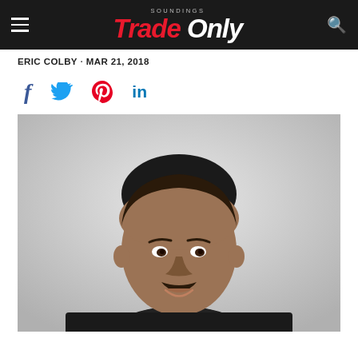Soundings Trade Only
ERIC COLBY · MAR 21, 2018
[Figure (other): Social media share icons: Facebook (f), Twitter (bird), Pinterest (p), LinkedIn (in)]
[Figure (photo): Professional headshot of a man with short hair and a mustache, wearing a dark suit, against a light gray background.]